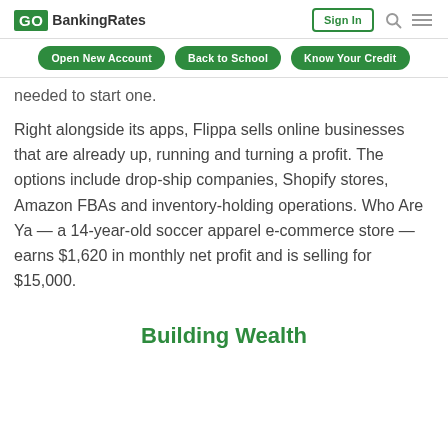GO BankingRates | Sign In | Search | Menu
Open New Account | Back to School | Know Your Credit
needed to start one.
Right alongside its apps, Flippa sells online businesses that are already up, running and turning a profit. The options include drop-ship companies, Shopify stores, Amazon FBAs and inventory-holding operations. Who Are Ya — a 14-year-old soccer apparel e-commerce store — earns $1,620 in monthly net profit and is selling for $15,000.
Building Wealth